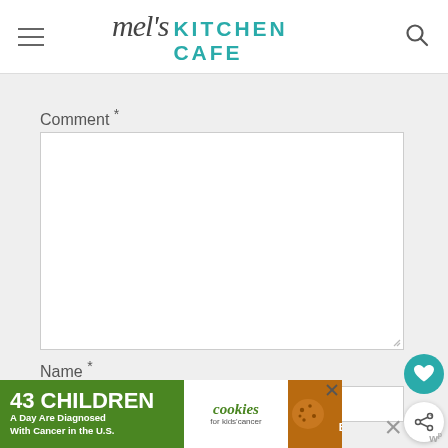mel's KITCHEN CAFE
Comment *
Name *
[Figure (screenshot): Advertisement banner: '43 CHILDREN A Day Are Diagnosed With Cancer in the U.S.' with cookies for kids cancer and Let's Get Baking promo]